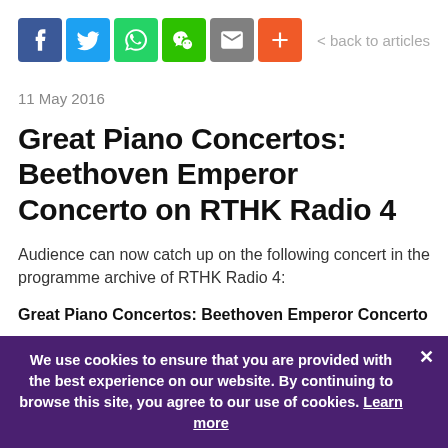[Figure (screenshot): Social media share icons: Facebook (blue), Twitter (light blue), WhatsApp (green), WeChat (green), Email (grey), More/Plus (orange)]
< back to articles
11 May 2016
Great Piano Concertos: Beethoven Emperor Concerto on RTHK Radio 4
Audience can now catch up on the following concert in the programme archive of RTHK Radio 4:
Great Piano Concertos: Beethoven Emperor Concerto
We use cookies to ensure that you are provided with the best experience on our website. By continuing to browse this site, you agree to our use of cookies. Learn more